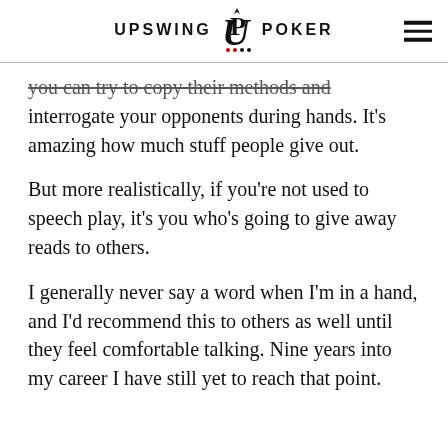UPSWING POKER
you can try to copy their methods and interrogate your opponents during hands. It’s amazing how much stuff people give out.
But more realistically, if you’re not used to speech play, it’s you who’s going to give away reads to others.
I generally never say a word when I’m in a hand, and I’d recommend this to others as well until they feel comfortable talking. Nine years into my career I have still yet to reach that point.